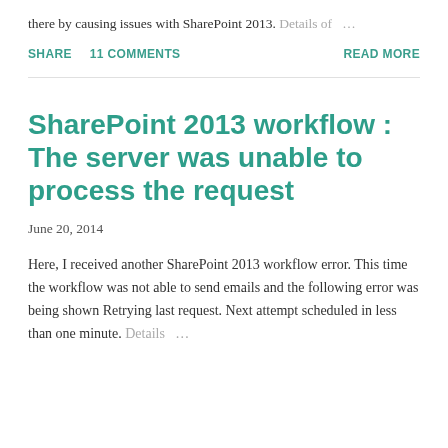there by causing issues with SharePoint 2013. Details of …
SHARE   11 COMMENTS   READ MORE
SharePoint 2013 workflow : The server was unable to process the request
June 20, 2014
Here, I received another SharePoint 2013 workflow error. This time the workflow was not able to send emails and the following error was being shown Retrying last request. Next attempt scheduled in less than one minute. Details …